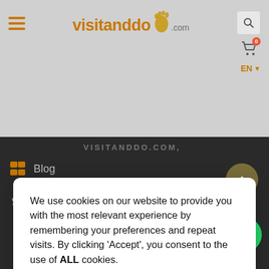[Figure (screenshot): Visitanddo.com website header with hamburger menu icon, logo, shopping cart with 0 badge, search icon, and EN language selector]
We use cookies on our website to provide you with the most relevant experience by remembering your preferences and repeat visits. By clicking 'Accept', you consent to the use of ALL cookies.
Cookie settings
ACCEPT
VISITANDDO.COM,
Blog
Who we are